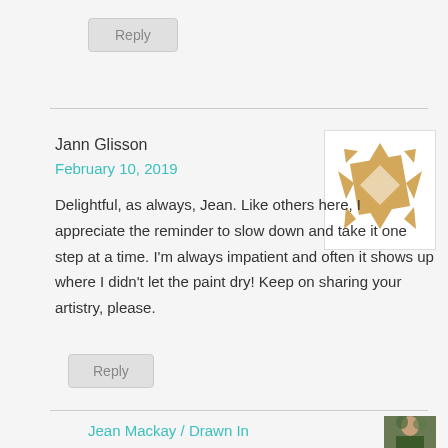Reply
Jann Glisson
February 10, 2019
[Figure (illustration): Abstract geometric avatar made of tan/gold triangles and rectangles arranged in a pinwheel pattern on white background]
Delightful, as always, Jean. Like others here, I appreciate the reminder to slow down and take it one step at a time. I'm always impatient and often it shows up where I didn't let the paint dry! Keep on sharing your artistry, please.
Reply
Jean Mackay / Drawn In
[Figure (photo): Small thumbnail photo of a woman outdoors with green foliage background]